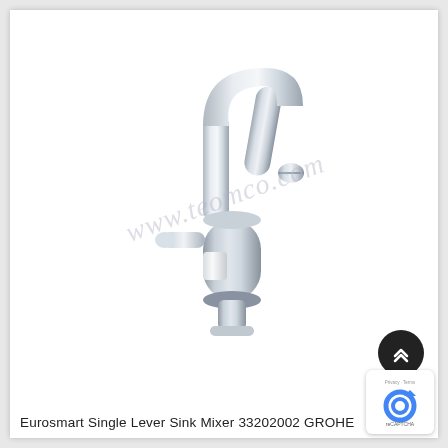[Figure (photo): Chrome kitchen/sink faucet - Grohe Eurosmart Single Lever Sink Mixer 33202002, shown with a tall curved spout and cylindrical body with side-mounted lever handle. Watermark text 'www.teomco.com' overlaid diagonally on the image.]
Eurosmart Single Lever Sink Mixer 33202002 GROHE